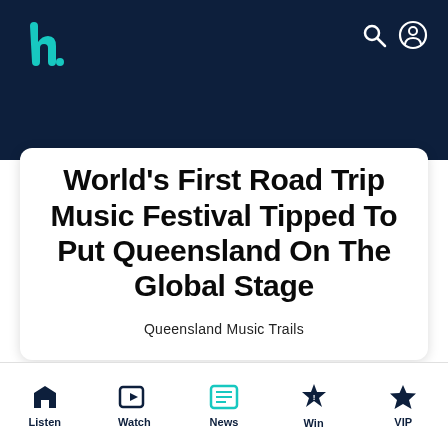h. [logo] — Queensland Music Trails website header
World's First Road Trip Music Festival Tipped To Put Queensland On The Global Stage
Queensland Music Trails
Listen | Watch | News | Win | VIP